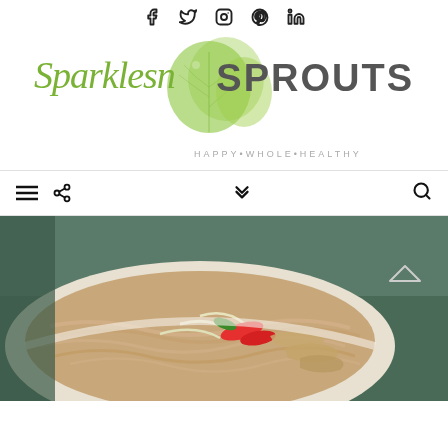Social media icons: Facebook, Twitter, Instagram, Pinterest, LinkedIn
[Figure (logo): Sparklesn SPROUTS logo with green brussels sprout illustration and tagline HAPPY•WHOLE•HEALTHY]
Navigation bar with hamburger menu, share icon, chevron down, and search icon
[Figure (photo): Bowl of noodles with shredded chicken, red and green peppers, and bean sprouts - Thai-style noodle dish]